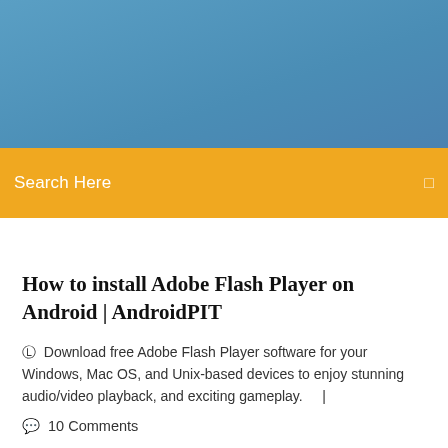[Figure (other): Blue header banner background]
Search Here
How to install Adobe Flash Player on Android | AndroidPIT
Download free Adobe Flash Player software for your Windows, Mac OS, and Unix-based devices to enjoy stunning audio/video playback, and exciting gameplay.    |
10 Comments